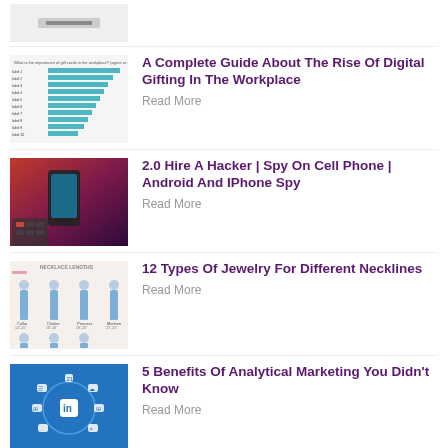[Figure (screenshot): Partial thumbnail at top, gray background with small dark bar element]
[Figure (bar-chart): Horizontal bar chart with teal/blue bars showing workplace digital gifting data]
A Complete Guide About The Rise Of Digital Gifting In The Workplace
Read More
[Figure (photo): Photo of a smartphone on a wooden surface next to a laptop keyboard with red lighting]
2.0 Hire A Hacker | Spy On Cell Phone | Android And IPhone Spy
Read More
[Figure (infographic): Necklace lengths infographic showing women figures with different necklace lengths labeled]
12 Types Of Jewelry For Different Necklines
Read More
[Figure (infographic): Blue background with LinkedIn logo in center surrounded by connected icons in a circular network diagram]
5 Benefits Of Analytical Marketing You Didn't Know
Read More
Steps Of Taking Legal Action Against My Debtor